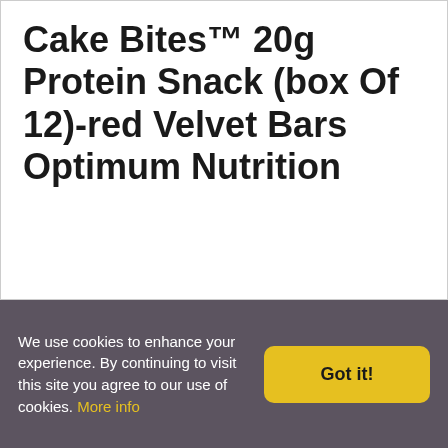Cake Bites™ 20g Protein Snack (box Of 12)-red Velvet Bars Optimum Nutrition
We use cookies to enhance your experience. By continuing to visit this site you agree to our use of cookies. More info